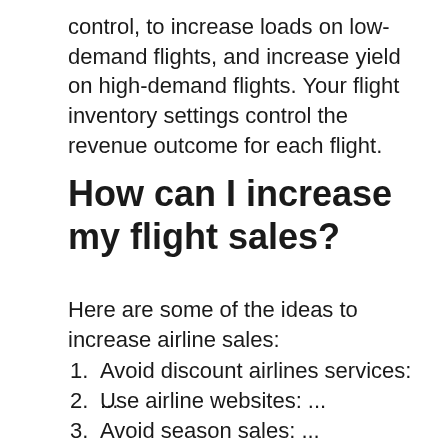control, to increase loads on low-demand flights, and increase yield on high-demand flights. Your flight inventory settings control the revenue outcome for each flight.
How can I increase my flight sales?
Here are some of the ideas to increase airline sales:
1. Avoid discount airlines services: ...
2. Use airline websites: ...
3. Avoid season sales: ...
4. Recommend the booking of tickets in the on-peak season: ...
5. Avoid price war: ...